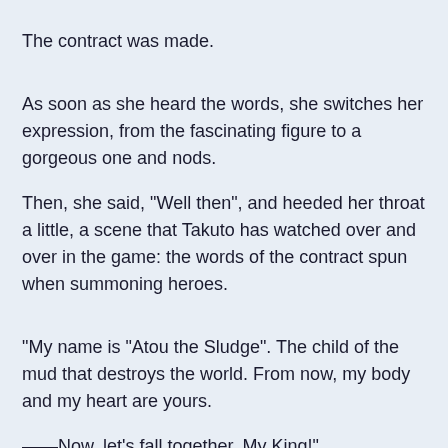The contract was made.
As soon as she heard the words, she switches her expression, from the fascinating figure to a gorgeous one and nods.
Then, she said, "Well then", and heeded her throat a little, a scene that Takuto has watched over and over in the game: the words of the contract spun when summoning heroes.
"My name is "Atou the Sludge". The child of the mud that destroys the world. From now, my body and my heart are yours.
——Now, let's fall together. My King!"
He nods firmly and responds to her words.